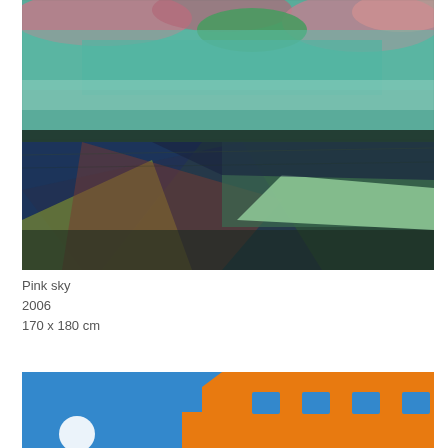[Figure (illustration): Abstract painting 'Pink sky' 2006 — landscape with teal/green sky area with pink cloud-like shapes at top, layered horizontal bands of dark blue, green, olive, and reddish-brown in lower portion, with a pale green rectangular platform shape on the right side]
Pink sky
2006
170 x 180 cm
[Figure (illustration): Abstract painting showing bright blue background with an orange geometric house/building shape containing blue square windows, with a white circular element (moon or light) in the lower left area — partially cropped at bottom of page]